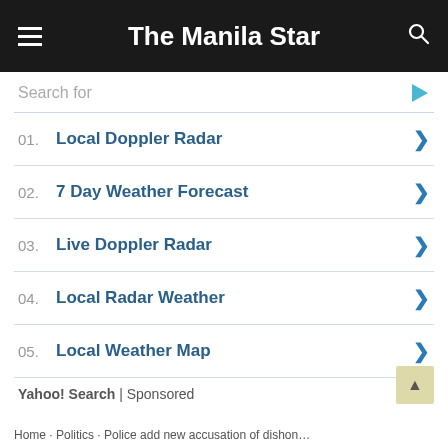The Manila Star
Search for
01. Local Doppler Radar
02. 7 Day Weather Forecast
03. Live Doppler Radar
04. Local Radar Weather
05. Local Weather Map
Yahoo! Search | Sponsored
Home · Politics · Police add new accusation of dishon...